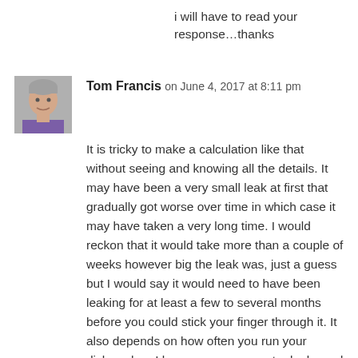i will have to read your response…thanks
[Figure (photo): Avatar photo of Tom Francis, a middle-aged man with gray hair wearing a purple shirt]
Tom Francis on June 4, 2017 at 8:11 pm
It is tricky to make a calculation like that without seeing and knowing all the details. It may have been a very small leak at first that gradually got worse over time in which case it may have taken a very long time. I would reckon that it would take more than a couple of weeks however big the leak was, just a guess but I would say it would need to have been leaking for at least a few to several months before you could stick your finger through it. It also depends on how often you run your dishwasher. I have seen many water leaks and do know that water seeks the path of least resistance, it very well could only cause damage at the rear